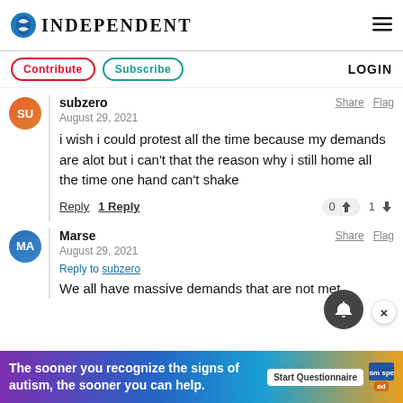INDEPENDENT
Contribute  Subscribe  LOGIN
subzero
August 29, 2021
i wish i could protest all the time because my demands are alot but i can't that the reason why i still home all the time one hand can't shake
Reply  1 Reply  0  1
Marse
August 29, 2021
Reply to subzero
We all have massive demands that are not met
The sooner you recognize the signs of autism, the sooner you can help. Start Questionnaire